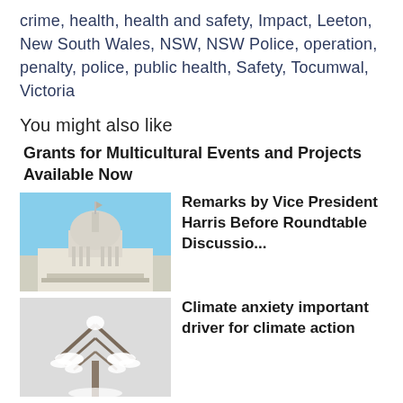crime, health, health and safety, Impact, Leeton, New South Wales, NSW, NSW Police, operation, penalty, police, public health, Safety, Tocumwal, Victoria
You might also like
Grants for Multicultural Events and Projects Available Now
[Figure (photo): US Capitol building with blue sky background]
Remarks by Vice President Harris Before Roundtable Discussio...
[Figure (photo): Snow-covered tree on grey background]
Climate anxiety important driver for climate action
[Figure (photo): Amazon rainforest fire with orange flames and dark smoke]
Amazon rainforest fires 2022: Facts, causes, and climate impacts